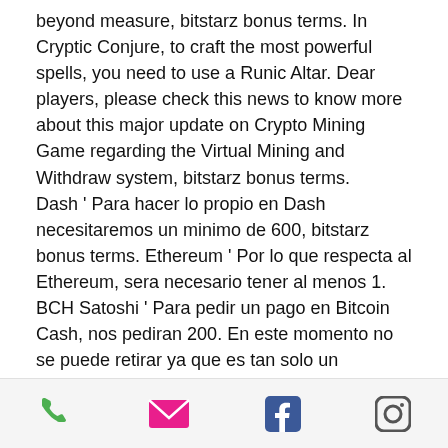beyond measure, bitstarz bonus terms. In Cryptic Conjure, to craft the most powerful spells, you need to use a Runic Altar. Dear players, please check this news to know more about this major update on Crypto Mining Game regarding the Virtual Mining and Withdraw system, bitstarz bonus terms.
Dash ' Para hacer lo propio en Dash necesitaremos un minimo de 600, bitstarz bonus terms. Ethereum ' Por lo que respecta al Ethereum, sera necesario tener al menos 1. BCH Satoshi ' Para pedir un pago en Bitcoin Cash, nos pediran 200. En este momento no se puede retirar ya que es tan solo un proyecto.
Žádný vkladový bonus code bitstarz
phone | email | facebook | instagram